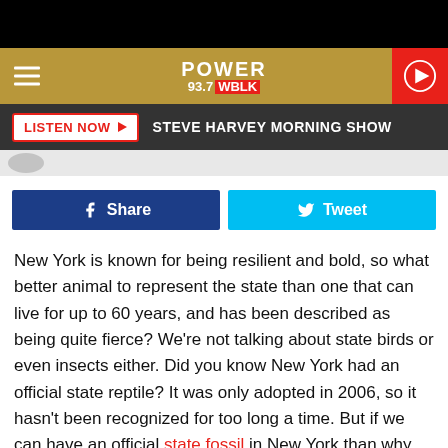POWER 93.7 WBLK
LISTEN NOW | STEVE HARVEY MORNING SHOW
[Figure (screenshot): Facebook Share button (dark blue) and Tweet button (light blue) side by side]
New York is known for being resilient and bold, so what better animal to represent the state than one that can live for up to 60 years, and has been described as being quite fierce? We're not talking about state birds or even insects either. Did you know New York had an official state reptile? It was only adopted in 2006, so it hasn't been recognized for too long a time. But if we can have an official state fossil in New York than why not a reptile?